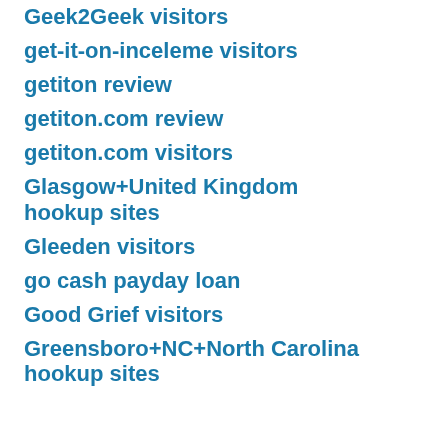Geek2Geek visitors
get-it-on-inceleme visitors
getiton review
getiton.com review
getiton.com visitors
Glasgow+United Kingdom hookup sites
Gleeden visitors
go cash payday loan
Good Grief visitors
Greensboro+NC+North Carolina hookup sites